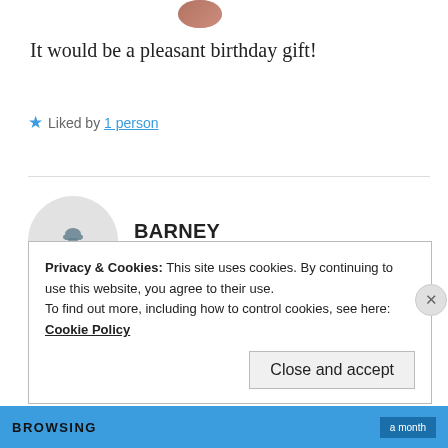[Figure (photo): Circular avatar photo of a person, partially cropped at top of page]
It would be a pleasant birthday gift!
★ Liked by 1 person
[Figure (photo): Round grey avatar with a cloud icon and small text reading 'You have reached your like at barney.blue']
BARNEY
17 May 2019 at 4:54 pm
Arey wah.😂😂
Privacy & Cookies: This site uses cookies. By continuing to use this website, you agree to their use.
To find out more, including how to control cookies, see here: Cookie Policy
Close and accept